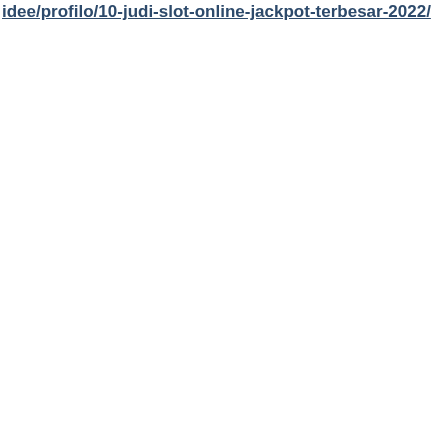idee/profilo/10-judi-slot-online-jackpot-terbesar-2022/